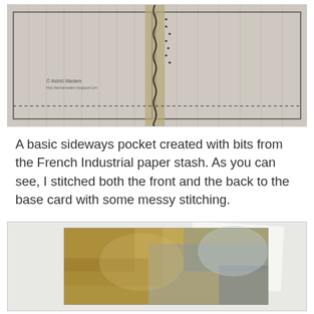[Figure (photo): A handmade sideways pocket card with striped French Industrial paper, stitched down the center with visible messy stitching and dotted pattern. Copyright Astrid Madam watermark visible.]
A basic sideways pocket created with bits from the French Industrial paper stash. As you can see, I stitched both the front and the back to the base card with some messy stitching.
[Figure (photo): Back view of the handmade card showing a distressed, aged paper card with mottled brown and blue-grey tones, with a white paper slip visible behind it.]